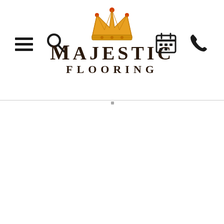[Figure (logo): Majestic Flooring logo featuring a golden crown above the stylized text 'Majestic Flooring' in dark brown serif font with navigation icons (hamburger menu, search, calendar, phone) on either side]